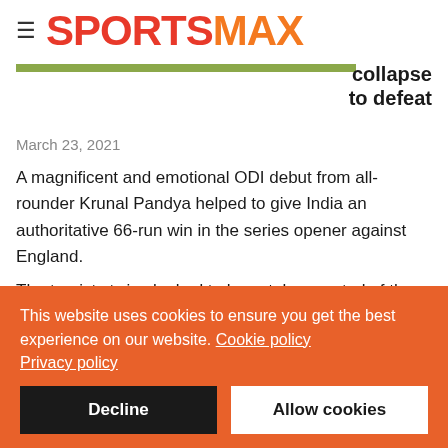SPORTSMAX
collapse to defeat
March 23, 2021
A magnificent and emotional ODI debut from all-rounder Krunal Pandya helped to give India an authoritative 66-run win in the series opener against England.
The tourists twice looked to have taken control of the contest – initially when India squandered the platform laid by Shikhar
This website uses cookies to ensure you get the best experience on our website. Cookie policy Privacy policy
Decline
Allow cookies